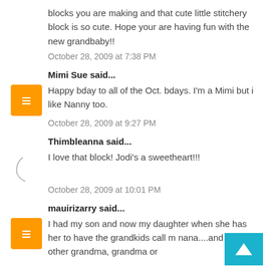blocks you are making and that cute little stitchery block is so cute. Hope your are having fun with the new grandbaby!!
October 28, 2009 at 7:38 PM
Mimi Sue said...
Happy bday to all of the Oct. bdays. I'm a Mimi but i like Nanny too.
October 28, 2009 at 9:27 PM
Thimbleanna said...
I love that block! Jodi's a sweetheart!!!
October 28, 2009 at 10:01 PM
mauirizarry said...
I had my son and now my daughter when she has her to have the grandkids call m nana....and the other grandma, grandma or